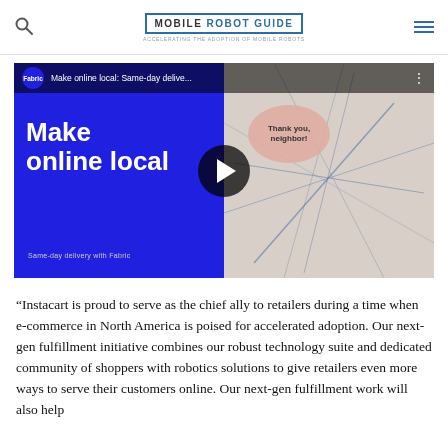MOBILE ROBOT GUIDE — Accelerating the adoption of mobile robots
[Figure (screenshot): YouTube-style embedded video thumbnail showing 'Make online local: Same-day delive...' from Fabric. Left half has blue background with white bold text 'Make online local' and small text 'Same-day delivery with Fabric'. Right half shows a package with 'Thank you, neighbor!' pink sticker. A dark play button circle is centered over the video.]
“Instacart is proud to serve as the chief ally to retailers during a time when e-commerce in North America is poised for accelerated adoption. Our next-gen fulfillment initiative combines our robust technology suite and dedicated community of shoppers with robotics solutions to give retailers even more ways to serve their customers online. Our next-gen fulfillment work will also help